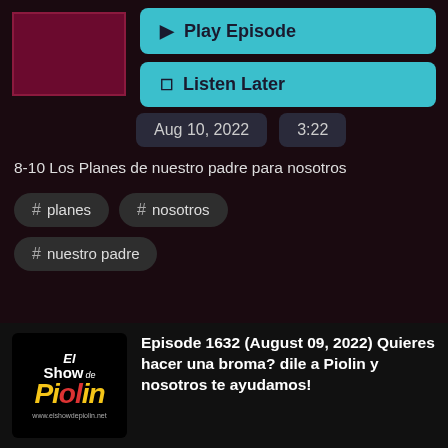[Figure (screenshot): Podcast app UI screenshot showing episode controls for El Show de Piolin]
▶ Play Episode
☐ Listen Later
Aug 10, 2022    3:22
8-10 Los Planes de nuestro padre para nosotros
# planes
# nosotros
# nuestro padre
[Figure (logo): El Show de Piolin podcast logo with www.elshowdepiolin.net]
Episode 1632 (August 09, 2022) Quieres hacer una broma? dile a Piolin y nosotros te ayudamos!